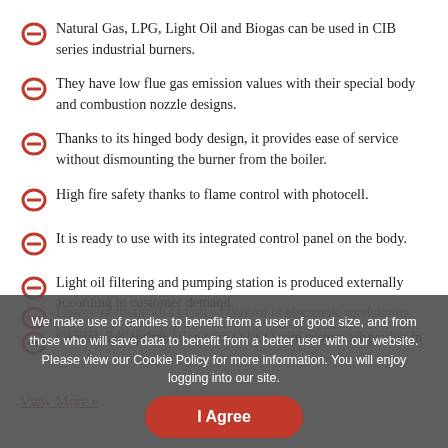Natural Gas, LPG, Light Oil and Biogas can be used in CIB series industrial burners.
They have low flue gas emission values with their special body and combustion nozzle designs.
Thanks to its hinged body design, it provides ease of service without dismounting the burner from the boiler.
High fire safety thanks to flame control with photocell.
It is ready to use with its integrated control panel on the body.
Light oil filtering and pumping station is produced externally according to customer demand.
Combustion optimization with O2-CO trim system adaptation in
Energy saving with fan speed control in electronic modulating burners, if demanded.
View More »
We make use of candies to benefit from a user of good size, and from those who will save data to benefit from a better user with our website. Please view our Cookie Policy for more information. You will enjoy logging into our site.